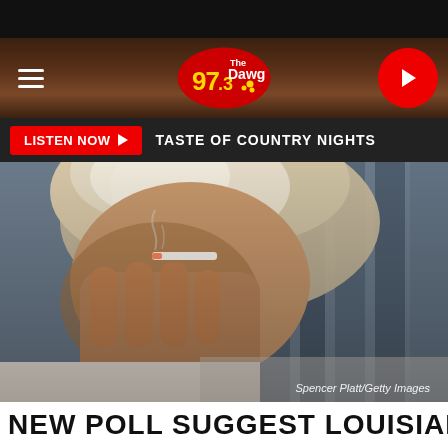[Figure (screenshot): Website header for 97.3 The Dawg radio station showing logo, hamburger menu, play button, dark wood-textured background]
LISTEN NOW ▶  TASTE OF COUNTRY NIGHTS
[Figure (photo): An older man with disheveled white/gray hair holding his head with his hand and holding a cigarette, appearing stressed. Photo credit: Spencer Platt/Getty Images]
NEW POLL SUGGEST LOUISIANA